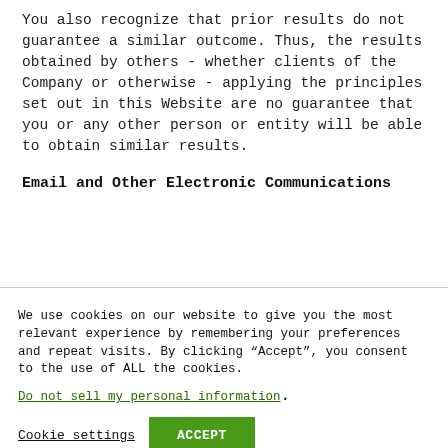You also recognize that prior results do not guarantee a similar outcome. Thus, the results obtained by others - whether clients of the Company or otherwise - applying the principles set out in this Website are no guarantee that you or any other person or entity will be able to obtain similar results.
Email and Other Electronic Communications
We use cookies on our website to give you the most relevant experience by remembering your preferences and repeat visits. By clicking “Accept”, you consent to the use of ALL the cookies.
Do not sell my personal information.
Cookie settings   ACCEPT